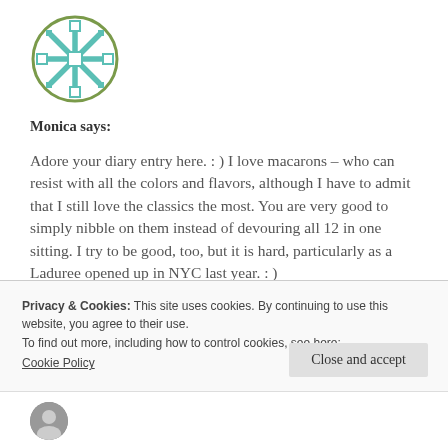[Figure (logo): Circular avatar/logo with snowflake-like teal cross pattern on white background, olive green circle border]
Monica says:
Adore your diary entry here. : ) I love macarons – who can resist with all the colors and flavors, although I have to admit that I still love the classics the most. You are very good to simply nibble on them instead of devouring all 12 in one sitting. I try to be good, too, but it is hard, particularly as a Laduree opened up in NYC last year. : )
Privacy & Cookies: This site uses cookies. By continuing to use this website, you agree to their use.
To find out more, including how to control cookies, see here:
Cookie Policy
Close and accept